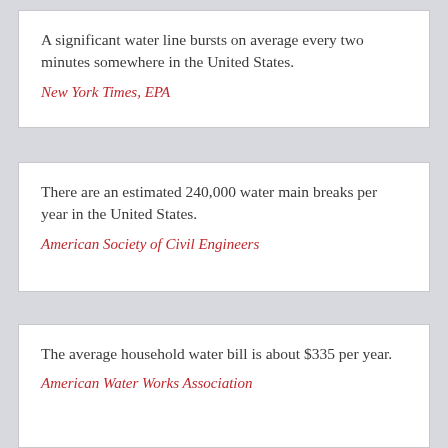A significant water line bursts on average every two minutes somewhere in the United States.

New York Times, EPA
There are an estimated 240,000 water main breaks per year in the United States.

American Society of Civil Engineers
The average household water bill is about $335 per year.

American Water Works Association